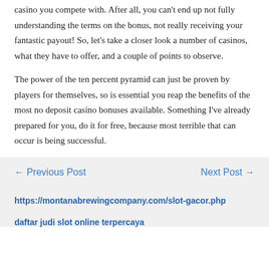casino you compete with. After all, you can't end up not fully understanding the terms on the bonus, not really receiving your fantastic payout! So, let's take a closer look a number of casinos, what they have to offer, and a couple of points to observe.
The power of the ten percent pyramid can just be proven by players for themselves, so is essential you reap the benefits of the most no deposit casino bonuses available. Something I've already prepared for you, do it for free, because most terrible that can occur is being successful.
← Previous Post    Next Post →
https://montanabrewingcompany.com/slot-gacor.php
daftar judi slot online terpercaya